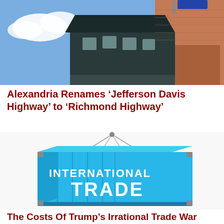[Figure (photo): Photograph of a brick building with a dark roofline and dormer windows against a blue sky with clouds. A street sign is partially visible at the top.]
Alexandria Renames ‘Jefferson Davis Highway’ to ‘Richmond Highway’
[Figure (photo): Photo of a blue shipping container labeled 'INTERNATIONAL TRADE' being lifted by cables.]
The Costs Of Trump’s Irrational Trade War Continue